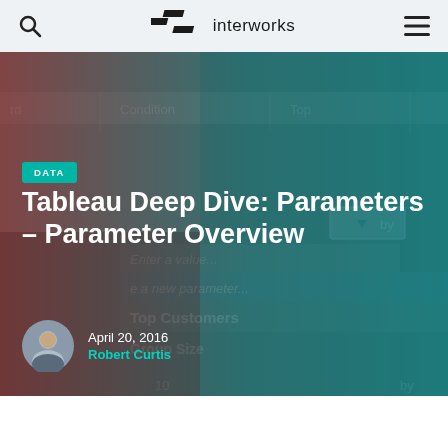interworks
[Figure (screenshot): Hero banner with blurred Tableau interface screenshot showing a dropdown parameter dialog with options including 'Enter a value...', 'Create a new parameter...', 'Top Customers', and 'Group Size'. Background is a teal-to-red gradient overlay on the Tableau UI.]
DATA
Tableau Deep Dive: Parameters – Parameter Overview
April 20, 2016
Robert Curtis